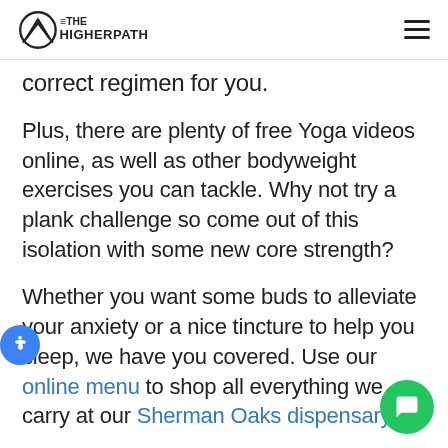THE HIGHER PATH (logo) | navigation hamburger menu
correct regimen for you.
Plus, there are plenty of free Yoga videos online, as well as other bodyweight exercises you can tackle. Why not try a plank challenge so come out of this isolation with some new core strength?
Whether you want some buds to alleviate your anxiety or a nice tincture to help you sleep, we have you covered. Use our online menu to shop all everything we carry at our Sherman Oaks dispensary.